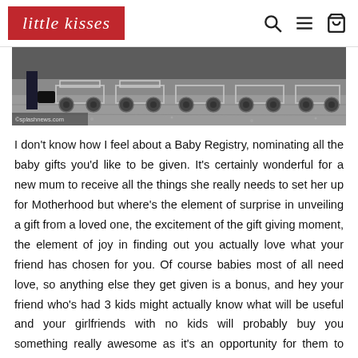little kisses
[Figure (photo): Black and white photo showing the bottom portion of shopping carts or trolleys with large wheels on a paved surface, with a person's feet/legs visible. Watermark: ©splashnews.com]
I don't know how I feel about a Baby Registry, nominating all the baby gifts you'd like to be given. It's certainly wonderful for a new mum to receive all the things she really needs to set her up for Motherhood but where's the element of surprise in unveiling a gift from a loved one, the excitement of the gift giving moment, the element of joy in finding out you actually love what your friend has chosen for you. Of course babies most of all need love, so anything else they get given is a bonus, and hey your friend who's had 3 kids might actually know what will be useful and your girlfriends with no kids will probably buy you something really awesome as it's an opportunity for them to swoon through the baby stores. On the other hand older folk might get you something knitted with